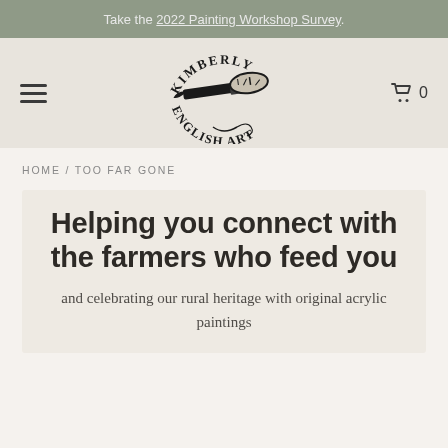Take the 2022 Painting Workshop Survey.
[Figure (logo): Kimberly English Art logo — a large flat paintbrush with farm landscape scene silhouette, text arched 'KIMBERLY' above and 'ENGLISH ART' below with decorative script flourish]
HOME / TOO FAR GONE
Helping you connect with the farmers who feed you
and celebrating our rural heritage with original acrylic paintings